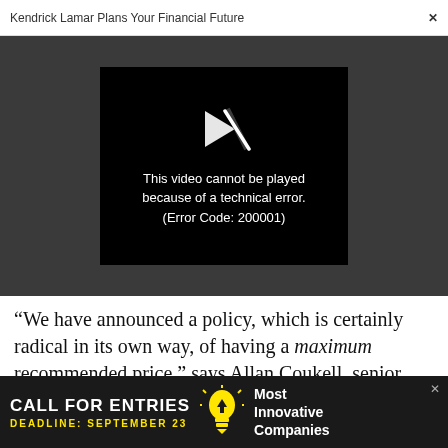Kendrick Lamar Plans Your Financial Future   ×
[Figure (screenshot): Video player showing error: 'This video cannot be played because of a technical error. (Error Code: 200001)' on dark grey background with black error box and broken play icon.]
“We have announced a policy, which is certainly radical in its own way, of having a maximum recommended price,” says Allan Coukell, senior vice president of public policy at Civica.”When we
[Figure (infographic): Advertisement banner: CALL FOR ENTRIES, DEADLINE: SEPTEMBER 23, lightbulb icon, Most Innovative Companies]